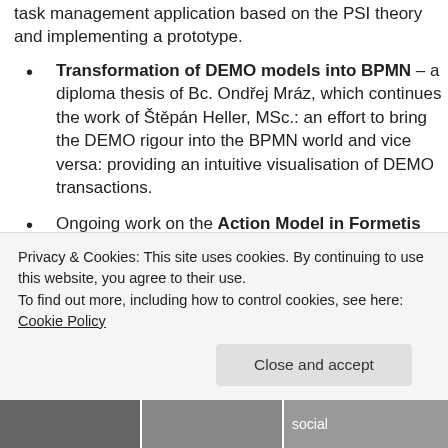task management application based on the PSI theory and implementing a prototype.
Transformation of DEMO models into BPMN – a diploma thesis of Bc. Ondřej Mráz, which continues the work of Štěpán Heller, MSc.: an effort to bring the DEMO rigour into the BPMN world and vice versa: providing an intuitive visualisation of DEMO transactions.
Ongoing work on the Action Model in Formetis DEMO Engine done by Bc. Marek Skotnica as his diploma thesis.
Bc. Peter Uhnák presented our DynaCASE project and we discussed the synergies with the DEMO Engine.
Privacy & Cookies: This site uses cookies. By continuing to use this website, you agree to their use.
To find out more, including how to control cookies, see here: Cookie Policy
Close and accept
[Figure (photo): Bottom strip showing partial photos of people and text 'social']